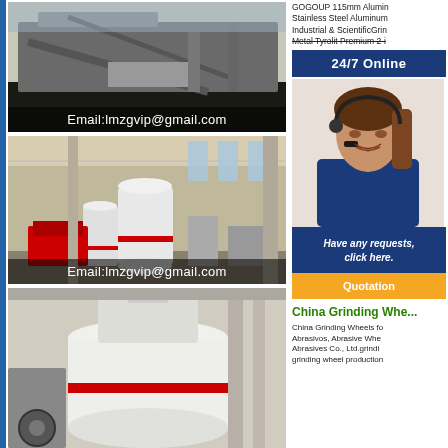[Figure (photo): Industrial mining/screening equipment outside with Email:lmzgvip@gmail.com overlay]
[Figure (photo): Industrial grinding mill equipment inside a factory with Email:lmzgvip@gmail.com overlay]
[Figure (photo): Close-up of white industrial grinding/milling machinery]
GOGOUP 115mm Aluminum Oxide Grinding Disc for Stainless Steel Aluminum - 60 Grit (10 Pack): Industrial & ScientificGrinding Disc for Stainless Steel Metal Tyrolit Premium 2-in-1 Grinding Wheel
24/7 Online
[Figure (photo): Customer service agent woman wearing headset smiling]
for
Have any requests, click here.
Quotation
China Grinding Whe...
China Grinding Wheels for Stainless Steel: Abrasivos, Abrasive Wheels China ... Abrasives Co., Ltd.grinding wheel production